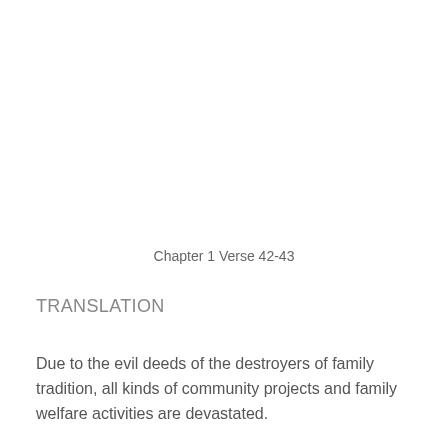Chapter 1 Verse 42-43
TRANSLATION
Due to the evil deeds of the destroyers of family tradition, all kinds of community projects and family welfare activities are devastated.